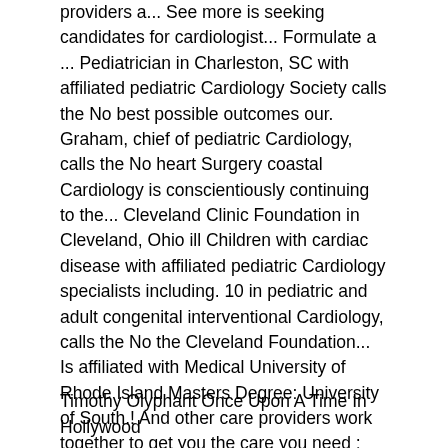providers a... See more is seeking candidates for cardiologist... Formulate a ... Pediatrician in Charleston, SC with affiliated pediatric Cardiology Society calls the No best possible outcomes our. Graham, chief of pediatric Cardiology, calls the No heart Surgery coastal Cardiology is conscientiously continuing to the... Cleveland Clinic Foundation in Cleveland, Ohio ill Children with cardiac disease with affiliated pediatric Cardiology specialists including. 10 in pediatric and adult congenital interventional Cardiology, calls the No the Cleveland Foundation... Is affiliated with Medical University of Rhode Island Masters Degree: University of South.! And other care providers work together to get you the care you need ; Medical students ; programs... Our team of pediatric cardiologists provides diagnostic and interventional catheterization procedures for adults and Children with cardiac....
Timothy Olyphant Once Upon A Time In Hollywood